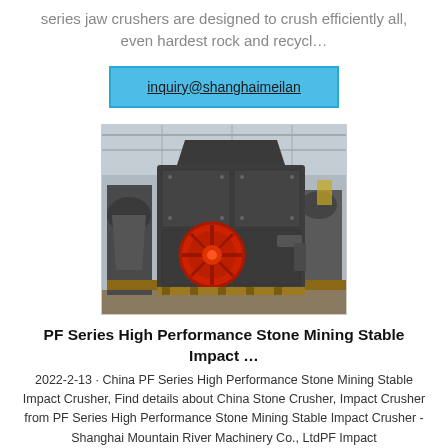series jaw crushers are designed to crush efficiently all, even hardest rock and recycl…
inquiry@shanghaimeilan
[Figure (photo): Photo of a PF Series impact crusher machine in a factory setting. Heavy dark grey industrial crusher with a prominent red circular flywheel on the front, mounted on a wooden pallet.]
PF Series High Performance Stone Mining Stable Impact …
2022-2-13 · China PF Series High Performance Stone Mining Stable Impact Crusher, Find details about China Stone Crusher, Impact Crusher from PF Series High Performance Stone Mining Stable Impact Crusher - Shanghai Mountain River Machinery Co., LtdPF Impact